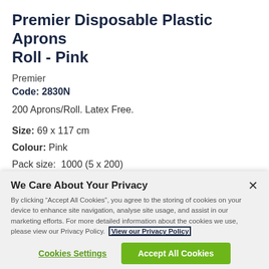Premier Disposable Plastic Aprons Roll - Pink
Premier
Code: 2830N
200 Aprons/Roll. Latex Free.
Size: 69 x 117 cm
Colour: Pink
Pack size: 1000 (5 x 200)
We Care About Your Privacy
By clicking “Accept All Cookies”, you agree to the storing of cookies on your device to enhance site navigation, analyse site usage, and assist in our marketing efforts. For more detailed information about the cookies we use, please view our Privacy Policy. View our Privacy Policy
Cookies Settings
Accept All Cookies